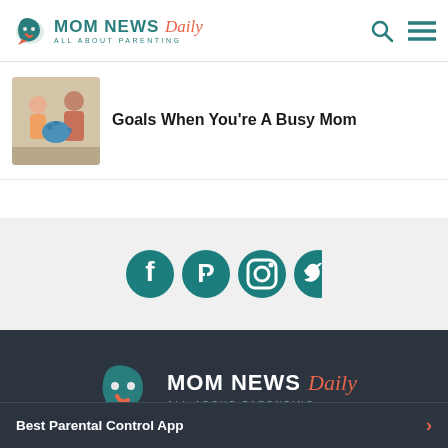MOM NEWS Daily — ALL ABOUT PARENTING
Goals When You're A Busy Mom
[Figure (photo): Thumbnail photo of a child and adult playing with a blue piggy bank]
[Figure (infographic): Social media icons: Facebook, Pinterest, Instagram, Twitter (teal circles)]
[Figure (logo): Mom News Daily logo — ALL ABOUT PARENTING — white and coral on dark background]
Best Parental Control App